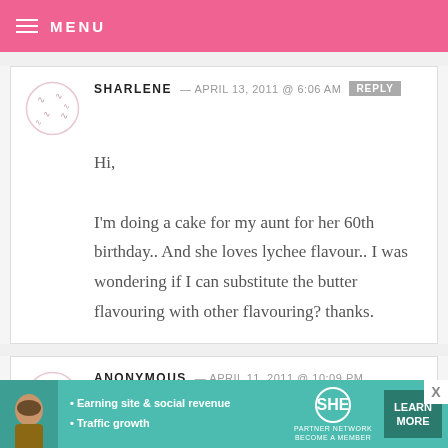MENU
SHARLENE — APRIL 13, 2011 @ 6:06 AM  REPLY
Hi,
I'm doing a cake for my aunt for her 60th birthday.. And she loves lychee flavour.. I was wondering if I can substitute the butter flavouring with other flavouring? thanks.
ANONYMOUS — APRIL 11, 2011 @ 10:09 PM
REPLY
[Figure (infographic): SHE Partner Network advertisement banner with bullet points: Earning site & social revenue, Traffic growth. Learn More button.]